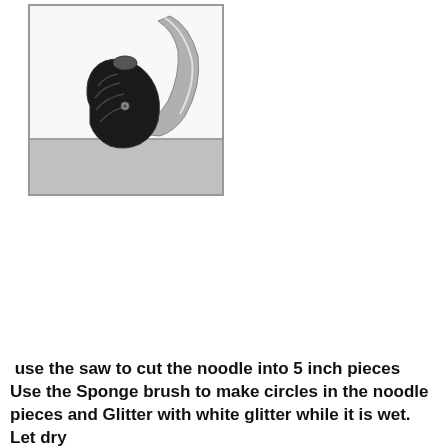[Figure (photo): A photo of a curved knife or saw tool with a black handle, placed on a white surface near a gray surface or shelf edge.]
use the saw to cut the noodle into 5 inch pieces Use the Sponge brush to make circles in the noodle pieces and Glitter with white glitter while it is wet. Let dry